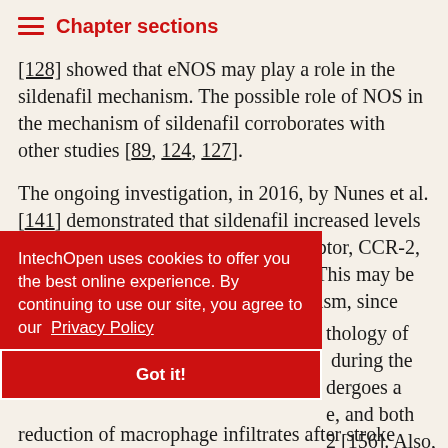Chapter sections
[128] showed that eNOS may play a role in the sildenafil mechanism. The possible role of NOS in the mechanism of sildenafil corroborates with other studies [89, 124, 127].
The ongoing investigation, in 2016, by Nunes et al. [141] demonstrated that sildenafil increased levels of the chemokine MCP-1 and its receptor, CCR-2, in the cuprizone-induced MS model. This may be part of the anti-inflammatory mechanism, since CCR-2 ...thology of ...during the ...dergoes a ...e, and both ...2 [156]. Also, ...with a reduction of macrophage infiltrates after stroke
IntechOpen uses cookies to offer you the best online experience. By continuing to use our site, you agree to our Privacy Policy
Got it!